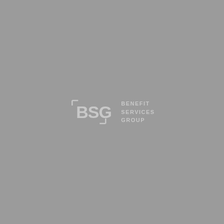[Figure (logo): BSG Benefit Services Group logo in light gray/white on gray background. The logo consists of stylized letters 'BSG' inside a bracket/frame design on the left, and the text 'BENEFIT SERVICES GROUP' stacked vertically on the right.]